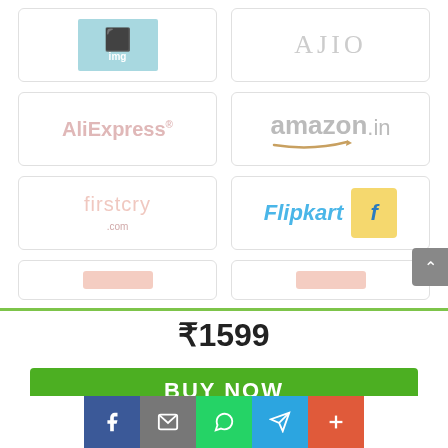[Figure (logo): Image placeholder / 1img logo (light blue)]
[Figure (logo): AJIO logo in light gray text]
[Figure (logo): AliExpress logo in pinkish-red text]
[Figure (logo): amazon.in logo with arrow in gray]
[Figure (logo): firstcry.com logo in pastel pink]
[Figure (logo): Flipkart logo in blue with yellow F badge]
[Figure (other): Partially visible row of store logos]
₹1599
BUY NOW
[Figure (infographic): Social share buttons: Facebook, Email, WhatsApp, Telegram, More]